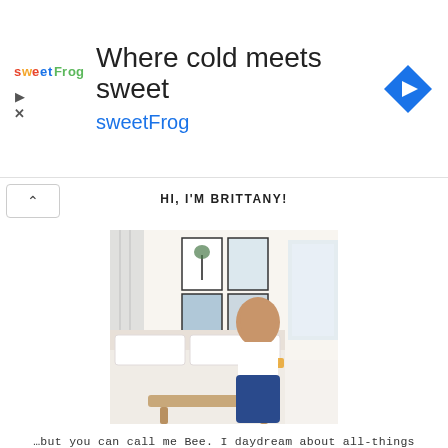[Figure (screenshot): SweetFrog advertisement banner: logo on left reading 'sweetFrog', headline text 'Where cold meets sweet', subtitle 'sweetFrog' in blue, navigation arrow icon on the right, play and close controls on the far left.]
HI, I'M BRITTANY!
[Figure (photo): A young woman with long brown hair wearing a white tank top and dark blue jeans sits on a wooden bench at the foot of a bed. The room has white bedding, two black-framed wall prints of a palm tree and ocean wave, and a window on the right. A small amber light is on the nightstand.]
…but you can call me Bee. I daydream about all-things